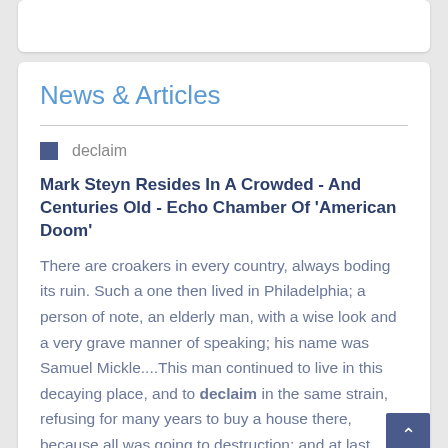News & Articles
Mark Steyn Resides In A Crowded - And Centuries Old - Echo Chamber Of 'American Doom'
There are croakers in every country, always boding its ruin. Such a one then lived in Philadelphia; a person of note, an elderly man, with a wise look and a very grave manner of speaking; his name was Samuel Mickle....This man continued to live in this decaying place, and to declaim in the same strain, refusing for many years to buy a house there, because all was going to destruction; and at last